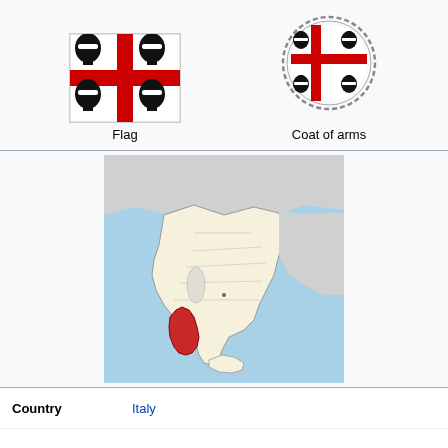[Figure (illustration): Flag of Sardinia: white background with red cross dividing it into four quadrants, each containing a black Moor's head]
Flag
[Figure (illustration): Coat of arms of Sardinia: circular medallion with a chain border, containing a cross dividing four Moor's heads on white background]
Coat of arms
[Figure (map): Map of Italy with Sardinia highlighted in red, showing the island's location in the western Mediterranean Sea]
| Country |  |
| --- | --- |
| Country | Italy |